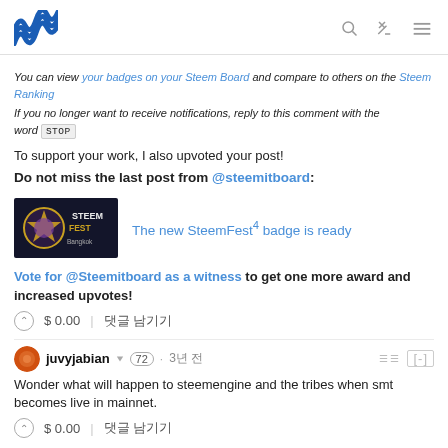Steem header with logo and icons
You can view your badges on your Steem Board and compare to others on the Steem Ranking
If you no longer want to receive notifications, reply to this comment with the word STOP
To support your work, I also upvoted your post!
Do not miss the last post from @steemitboard:
[Figure (screenshot): SteemFest badge image with text: The new SteemFest4 badge is ready]
Vote for @Steemitboard as a witness to get one more award and increased upvotes!
$ 0.00 | 댓글 남기기
juvyjabian 72 · 3년 전
Wonder what will happen to steemengine and the tribes when smt becomes live in mainnet.
$ 0.00 | 댓글 남기기